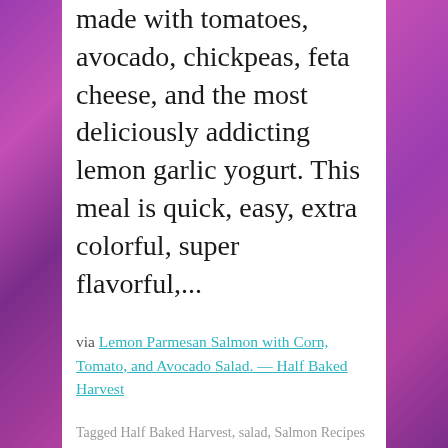made with tomatoes, avocado, chickpeas, feta cheese, and the most deliciously addicting lemon garlic yogurt. This meal is quick, easy, extra colorful, super flavorful,...
via Lemon Parmesan Salmon with Corn, Tomato, and Avocado Salad. — Half Baked Harvest
Tagged Half Baked Harvest, salad, Salmon Recipes
Leave a comment